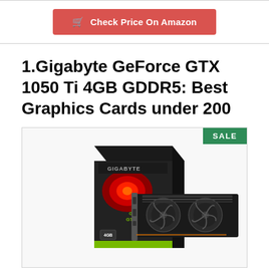[Figure (other): Red 'Check Price On Amazon' button with shopping cart icon inside a bordered white banner]
1.Gigabyte GeForce GTX 1050 Ti 4GB GDDR5: Best Graphics Cards under 200
[Figure (photo): Product photo of the Gigabyte GeForce GTX 1050 Ti 4GB graphics card, showing both the retail box and the card itself. A green 'SALE' badge is in the top-right corner of the image frame.]